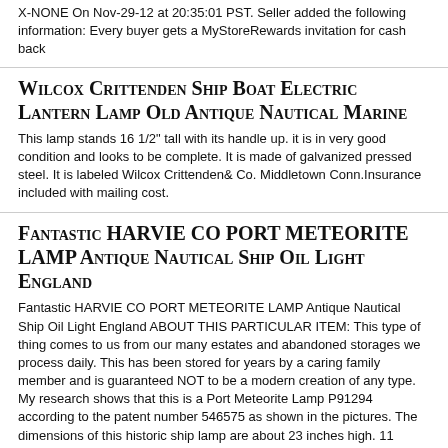X-NONE On Nov-29-12 at 20:35:01 PST. Seller added the following information: Every buyer gets a MyStoreRewards invitation for cash back
Wilcox Crittenden Ship Boat Electric Lantern Lamp Old Antique Nautical Marine
This lamp stands 16 1/2" tall with its handle up. it is in very good condition and looks to be complete. It is made of galvanized pressed steel. It is labeled Wilcox Crittenden& Co. Middletown Conn.Insurance included with mailing cost.
Fantastic HARVIE CO PORT METEORITE LAMP Antique Nautical Ship Oil Light England
Fantastic HARVIE CO PORT METEORITE LAMP Antique Nautical Ship Oil Light England ABOUT THIS PARTICULAR ITEM: This type of thing comes to us from our many estates and abandoned storages we process daily. This has been stored for years by a caring family member and is guaranteed NOT to be a modern creation of any type. My research shows that this is a Port Meteorite Lamp P91294 according to the patent number 546575 as shown in the pictures. The dimensions of this historic ship lamp are about 23 inches high. 11 inches wide and 13 inches deep. This fabulous nautical lamp is made of both brass and copper metal that has a pleasing aged look to it. There is a red light filter that is removable and all of the parts on this piece are workable. This Port Meteorite Lamp was made in Birmingham, England. Dimensions measure: 23"h x 11"w x 13"d ... more